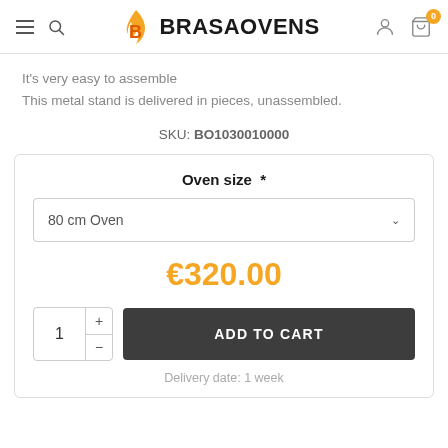BRASAOVENS
It's very easy to assemble
This metal stand is delivered in pieces, unassembled.
SKU: BO1030010000
Oven size  *
80 cm Oven
€320.00
1
ADD TO CART
Delivery date: 1 week